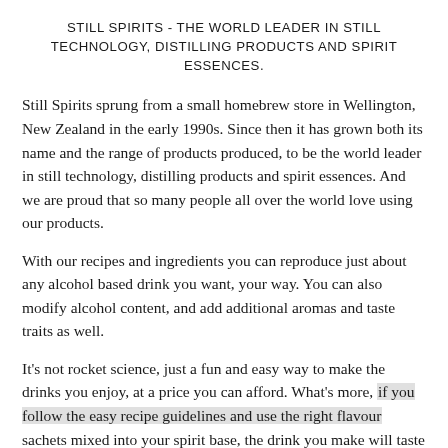STILL SPIRITS - THE WORLD LEADER IN STILL TECHNOLOGY, DISTILLING PRODUCTS AND SPIRIT ESSENCES.
Still Spirits sprung from a small homebrew store in Wellington, New Zealand in the early 1990s. Since then it has grown both its name and the range of products produced, to be the world leader in still technology, distilling products and spirit essences. And we are proud that so many people all over the world love using our products.
With our recipes and ingredients you can reproduce just about any alcohol based drink you want, your way. You can also modify alcohol content, and add additional aromas and taste traits as well.
It's not rocket science, just a fun and easy way to make the drinks you enjoy, at a price you can afford. What's more, if you follow the easy recipe guidelines and use the right flavour sachets mixed into your spirit base, the drink you make will taste so good your friends will find it hard to believe you made them yourself!